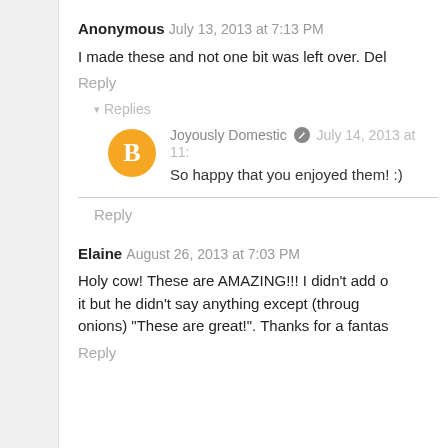Anonymous July 13, 2013 at 7:13 PM
I made these and not one bit was left over. Del
Reply
▾ Replies
Joyously Domestic [edit icon] July 14, 2013 at 11:
So happy that you enjoyed them! :)
Reply
Elaine August 26, 2013 at 7:03 PM
Holy cow! These are AMAZING!!! I didn't add o it but he didn't say anything except (through onions) "These are great!". Thanks for a fantas
Reply